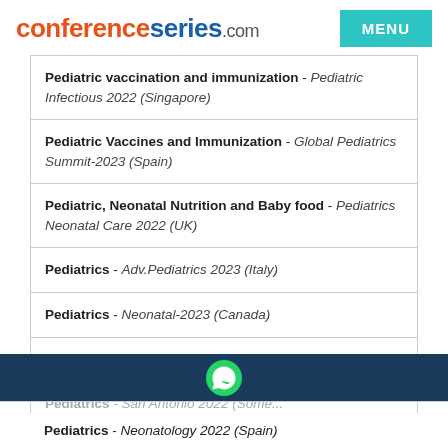conferenceseries.com | MENU
Pediatric vaccination and immunization - Pediatric Infectious 2022 (Singapore)
Pediatric Vaccines and Immunization - Global Pediatrics Summit-2023 (Spain)
Pediatric, Neonatal Nutrition and Baby food - Pediatrics Neonatal Care 2022 (UK)
Pediatrics - Adv.Pediatrics 2023 (Italy)
Pediatrics - Neonatal-2023 (Canada)
Pediatrics - WORLD PEDIATRICS 2022 (Japan)
Pediatrics - [partially visible]
Pediatrics - Neonatology 2022 (Spain)